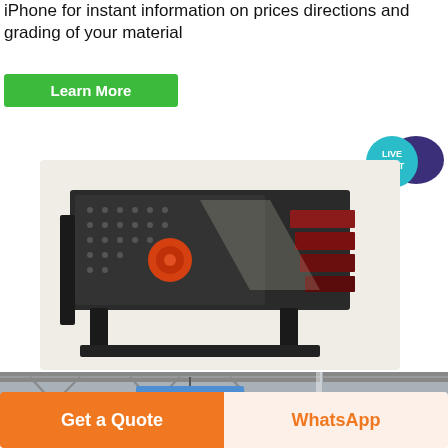iPhone for instant information on prices directions and grading of your material
Learn More
[Figure (illustration): Live Chat speech bubble icon with teal circle and dark purple chat bubble]
[Figure (photo): Industrial vibrating screen / sieving machine, large rectangular perforated dark metal frame with orange motor, angled view showing multiple decks]
[Figure (photo): Bottom partial image of industrial building interior with steel truss structure and a blue rectangular sign hanging from the ceiling]
Get a Quote
WhatsApp